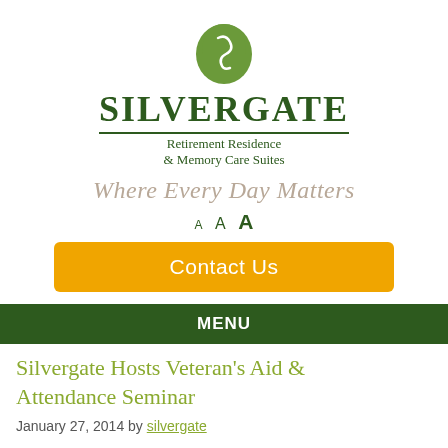[Figure (logo): Silvergate Retirement Residence & Memory Care Suites logo with green arch/leaf icon and company name]
Where Every Day Matters
A A A
Contact Us
MENU
Silvergate Hosts Veteran's Aid & Attendance Seminar
January 27, 2014 by silvergate
Silvergate Hosts Veteran's Aid &